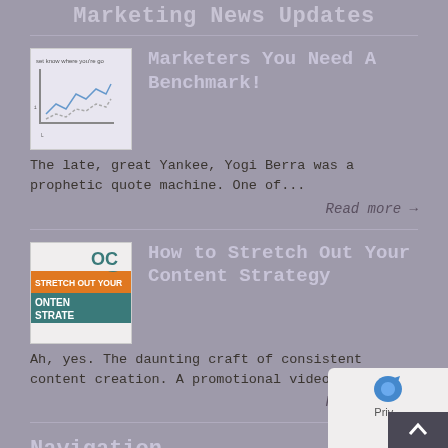Marketing News Updates
Marketers  You Need A Benchmark!
[Figure (illustration): Thumbnail image showing a line chart with 'set know where you're go' text and benchmark graph lines]
The late, great Yankee, Yogi Berra was a prophetic quote machine. One of...
Read more →
How to Stretch Out Your Content Strategy
[Figure (illustration): Thumbnail image showing 'STRETCH OUT YOUR CONTENT STRATE' text with teal/orange graphic design elements]
Ah, yes. The daunting craft of consistent content creation. A promotional video for...
Read more →
Navigation
Home